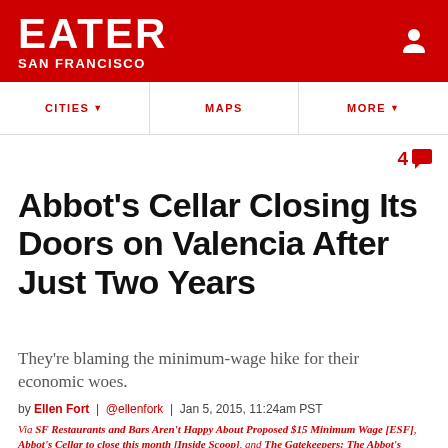EATER SAN FRANCISCO
CITIES | MAPS | MORE
4 comments
Abbot's Cellar Closing Its Doors on Valencia After Just Two Years
They're blaming the minimum-wage hike for their economic woes.
by Ellen Fort | @ellenfork | Jan 5, 2015, 11:24am PST
Via SF Restaurants and Bars Aren't Happy About Proposed $15 Minimum Wage [ESF], Abbot's Cellar to close this month [Inside Scoop], and The Gatekeepers: The Abbot's Cellar [ESF] | 4 comments